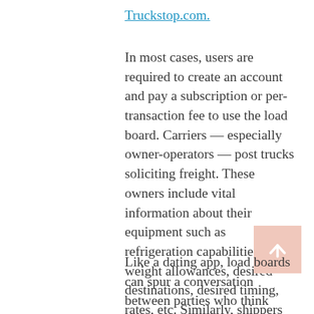Truckstop.com.
In most cases, users are required to create an account and pay a subscription or per-transaction fee to use the load board. Carriers — especially owner-operators — post trucks soliciting freight. These owners include vital information about their equipment such as refrigeration capabilities, weight allowances, desired destinations, desired timing, rates, etc. Similarly, shippers and brokers post freight they need moved from an origin to a destination.
Like a dating app, load boards can spur a conversation between parties who think might be a match. Much like